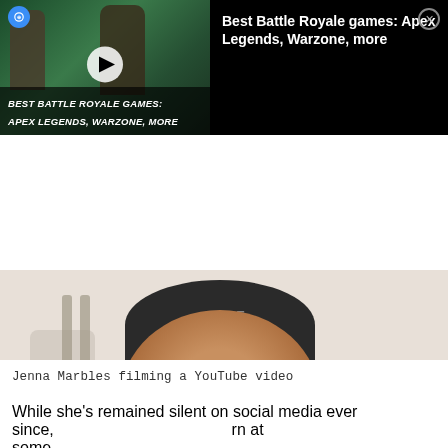[Figure (screenshot): Ad banner showing a video thumbnail for 'Best Battle Royale Games: Apex Legends, Warzone, More' with a play button, alongside the text title and a close button on a black background.]
[Figure (photo): A woman (Jenna Marbles) wearing a black beanie hat filmed from above the waist. She is looking at the camera, wearing a dark hoodie and a choker necklace. The lower portion of the image has a caption overlay reading 'YOUTUBE: JENNA MARBLES'.]
Jenna Marbles filming a YouTube video
While she's remained silent on social media ever since, …rn at some …
[Figure (screenshot): Bottom ad banner: Originals logo on the left (purple background), bullet point with 'Untold Influencer Stories' in the middle, 'LEARN MORE ...' on the right, with an X close button.]